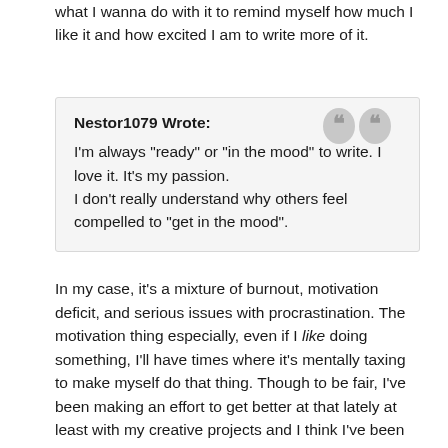what I wanna do with it to remind myself how much I like it and how excited I am to write more of it.
Nestor1079 Wrote:
I'm always "ready" or "in the mood" to write. I love it. It's my passion.
I don't really understand why others feel compelled to "get in the mood".
In my case, it's a mixture of burnout, motivation deficit, and serious issues with procrastination. The motivation thing especially, even if I like doing something, I'll have times where it's mentally taxing to make myself do that thing. Though to be fair, I've been making an effort to get better at that lately at least with my creative projects and I think I've been improving. The fact that I've stuck with my main story for nine months without missing an update day and I'm still writing plenty of